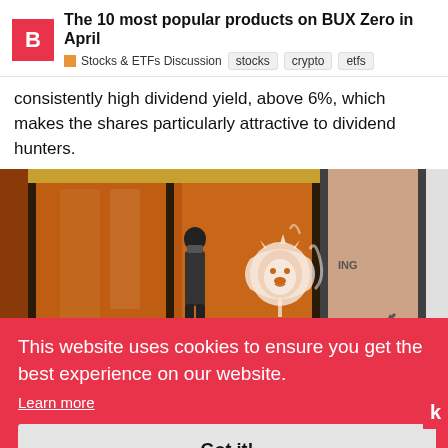The 10 most popular products on BUX Zero in April | Stocks & ETFs Discussion | stocks | crypto | etfs
consistently high dividend yield, above 6%, which makes the shares particularly attractive to dividend hunters.
[Figure (photo): Photo of a person walking in front of an orange-themed bank entrance with a white lion logo on the glass door.]
This website uses cookies to ensure you get the best experience on our website. Learn more
Got it!
The second-largest crypto followed a sim